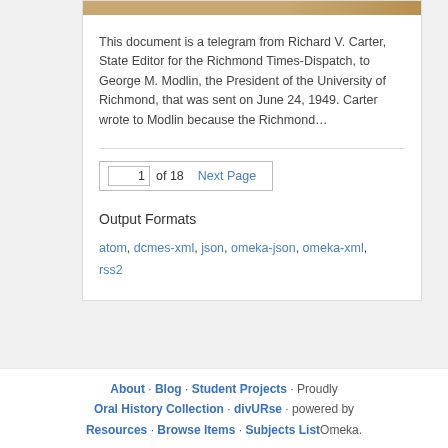[Figure (photo): Partial image strip showing a brownish/tan colored document or photograph at the top of the card]
This document is a telegram from Richard V. Carter, State Editor for the Richmond Times-Dispatch, to George M. Modlin, the President of the University of Richmond, that was sent on June 24, 1949. Carter wrote to Modlin because the Richmond…
1 of 18  Next Page
Output Formats
atom, dcmes-xml, json, omeka-json, omeka-xml, rss2
About · Blog · Student Projects · Proudly Oral History Collection · divURse · powered by Resources · Browse Items · Subjects List Omeka.